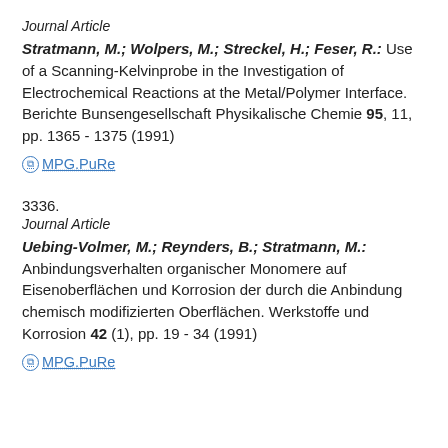Journal Article
Stratmann, M.; Wolpers, M.; Streckel, H.; Feser, R.: Use of a Scanning-Kelvinprobe in the Investigation of Electrochemical Reactions at the Metal/Polymer Interface. Berichte Bunsengesellschaft Physikalische Chemie 95, 11, pp. 1365 - 1375 (1991)
MPG.PuRe
3336.
Journal Article
Uebing-Volmer, M.; Reynders, B.; Stratmann, M.: Anbindungsverhalten organischer Monomere auf Eisenoberflächen und Korrosion der durch die Anbindung chemisch modifizierten Oberflächen. Werkstoffe und Korrosion 42 (1), pp. 19 - 34 (1991)
MPG.PuRe